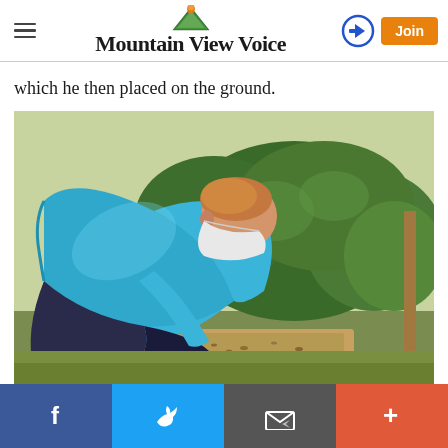Mountain View Voice
which he then placed on the ground.
[Figure (photo): Man in blue shirt and white face mask bending over to place something on the ground, with green bushes in background.]
Social share bar: Facebook, Twitter, Email, More (+)